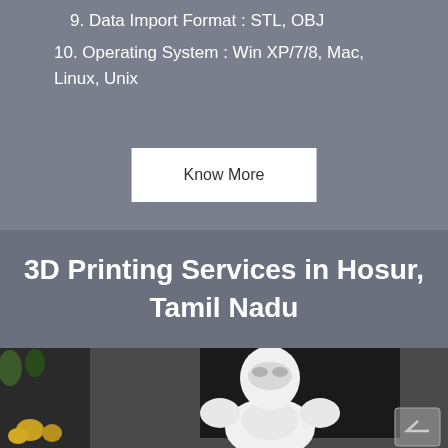9. Data Import Format : STL, OBJ
10. Operating System : Win XP/7/8, Mac, Linux, Unix
Know More
3D Printing Services in Hosur, Tamil Nadu
[Figure (photo): A white 3D-printed Iron Man figurine/bust sitting in front of a dark monitor, with shelving and plants visible in the background. A scroll-up arrow button is visible at the bottom right.]